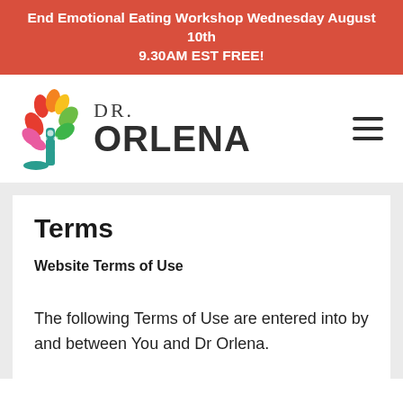End Emotional Eating Workshop Wednesday August 10th 9.30AM EST FREE!
[Figure (logo): Dr. Orlena logo — colorful tree with leaves in red, orange, yellow, green, pink, and teal with small human figures; next to bold text reading DR. ORLENA]
Terms
Website Terms of Use
The following Terms of Use are entered into by and between You and Dr Orlena.